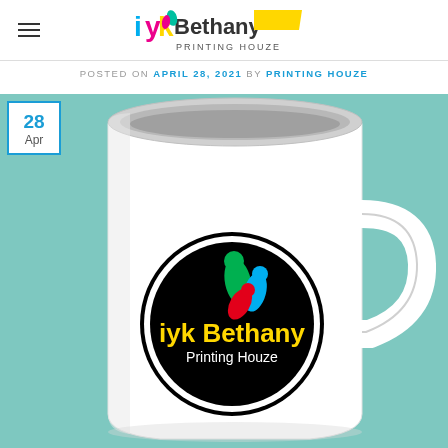iyk Bethany Printing Houze — site header with hamburger menu
POSTED ON APRIL 28, 2021 BY PRINTING HOUZE
[Figure (photo): A white ceramic mug on a teal/mint background. The mug has a circular black logo printed on it reading 'iyk Bethany Printing Houze' with colorful ink-drop shapes (green, blue, red) above the text. A date badge overlay in the top-left reads '28 Apr' in a blue-bordered white box.]